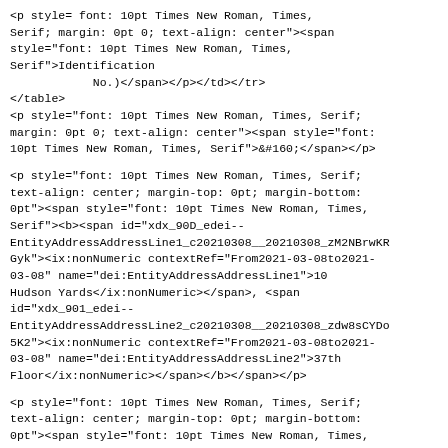<p style= font: 10pt Times New Roman, Times, Serif; margin: 0pt 0; text-align: center"><span style="font: 10pt Times New Roman, Times, Serif">Identification
        No.)</span></p></td></tr>
</table>
<p style="font: 10pt Times New Roman, Times, Serif; margin: 0pt 0; text-align: center"><span style="font: 10pt Times New Roman, Times, Serif">&#160;</span></p>
<p style="font: 10pt Times New Roman, Times, Serif; text-align: center; margin-top: 0pt; margin-bottom: 0pt"><span style="font: 10pt Times New Roman, Times, Serif"><b><span id="xdx_90D_edei--EntityAddressAddressLine1_c20210308__20210308_zM2NBrwKRGyk"><ix:nonNumeric contextRef="From2021-03-08to2021-03-08" name="dei:EntityAddressAddressLine1">10 Hudson Yards</ix:nonNumeric></span>, <span id="xdx_901_edei--EntityAddressAddressLine2_c20210308__20210308_zdw8sCYDo5K2"><ix:nonNumeric contextRef="From2021-03-08to2021-03-08" name="dei:EntityAddressAddressLine2">37th Floor</ix:nonNumeric></span></b></span></p>
<p style="font: 10pt Times New Roman, Times, Serif; text-align: center; margin-top: 0pt; margin-bottom: 0pt"><span style="font: 10pt Times New Roman, Times, Serif"><b><span id="xdx_903_edei--EntityAddressCityOrTown_c20210308__20210308_z33DjoQ1C9c3"><ix:nonNumeric contextRef="From2021-03-08to2021-03-08" name="dei:EntityAddressCityOrTown">N...